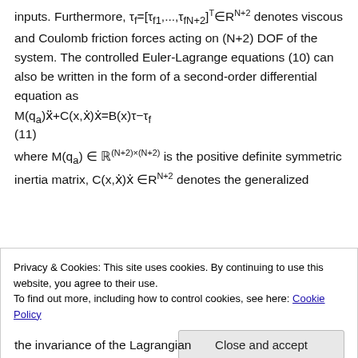inputs. Furthermore, τf=[τf1,...,τfN+2]T∈RN+2 denotes viscous and Coulomb friction forces acting on (N+2) DOF of the system. The controlled Euler-Lagrange equations (10) can also be written in the form of a second-order differential equation as
(11)
where M(qa) ∈ ℝ(N+2)×(N+2) is the positive definite symmetric inertia matrix, C(x,ẋ)ẋ ∈RN+2 denotes the generalized
Privacy & Cookies: This site uses cookies. By continuing to use this website, you agree to their use.
To find out more, including how to control cookies, see here: Cookie Policy
the invariance of the Lagrangian